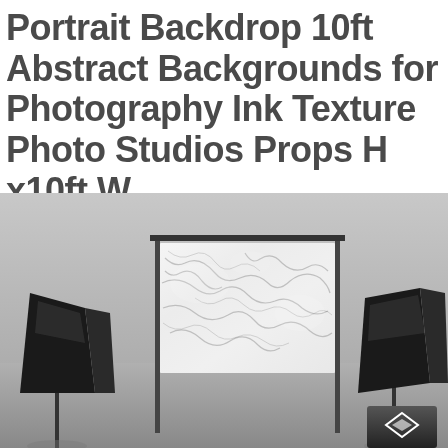Portrait Backdrop 10ft Abstract Backgrounds for Photography Ink Texture Photo Studios Props H x10ft W
[Figure (photo): A photo studio setup showing a large white and grey marble-texture abstract backdrop mounted on a backdrop stand, with two black photography softbox lights on either side. A small logo watermark appears in the bottom right corner.]